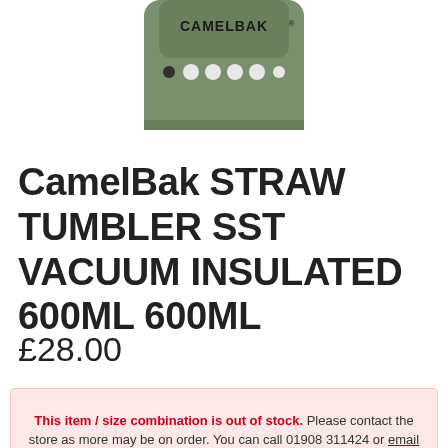[Figure (photo): CamelBak Straw Tumbler product image – olive/sage green tumbler lid viewed from above, showing the CamelBak logo and a row of circular dots/buttons on the lid.]
CamelBak STRAW TUMBLER SST VACUUM INSULATED 600ML 600ML
£28.00
This item / size combination is out of stock. Please contact the store as more may be on order. You can call 01908 311424 or email us here.